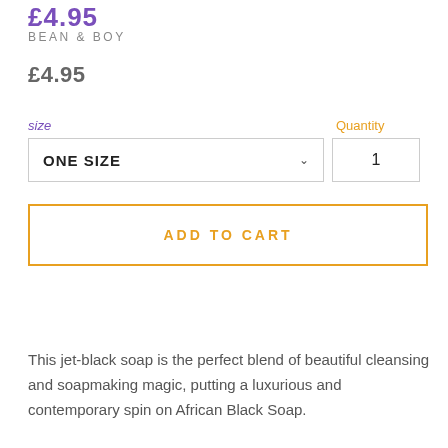£4.95
BEAN & BOY
£4.95
size
Quantity
ONE SIZE
1
ADD TO CART
This jet-black soap is the perfect blend of beautiful cleansing and soapmaking magic, putting a luxurious and contemporary spin on African Black Soap.